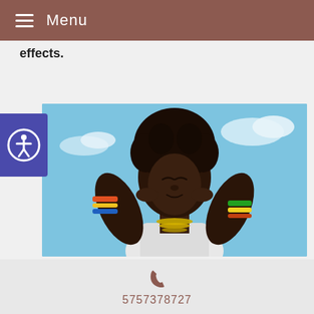Menu
effects.
[Figure (photo): A Black woman with natural hair, eyes closed, wearing colorful bracelets and gold necklaces, raising her hands to her face against a blue sky background.]
Whereas antidepressants address the symptoms of depression and ignore the root
5757378727